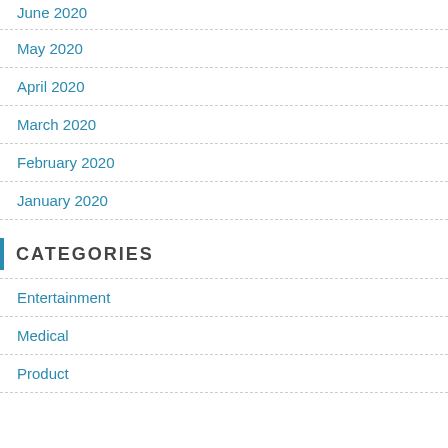June 2020
May 2020
April 2020
March 2020
February 2020
January 2020
CATEGORIES
Entertainment
Medical
Product